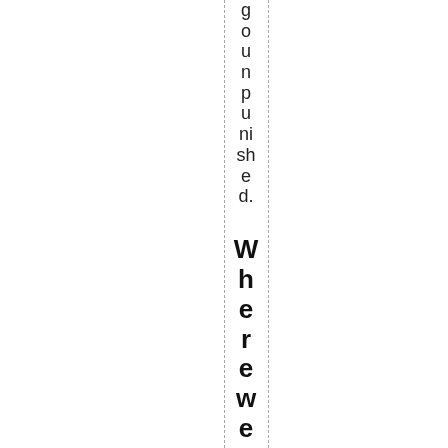go unpunished.
Where we are thi